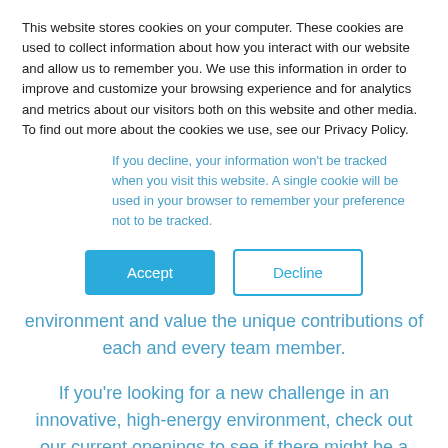This website stores cookies on your computer. These cookies are used to collect information about how you interact with our website and allow us to remember you. We use this information in order to improve and customize your browsing experience and for analytics and metrics about our visitors both on this website and other media. To find out more about the cookies we use, see our Privacy Policy.
If you decline, your information won't be tracked when you visit this website. A single cookie will be used in your browser to remember your preference not to be tracked.
Accept | Decline (buttons)
software engineers, data scientists, and outdoor enthusiasts. We promote a collaborative environment and value the unique contributions of each and every team member.
If you're looking for a new challenge in an innovative, high-energy environment, check out our current openings to see if there might be a match. Curious to hear more? Read on.